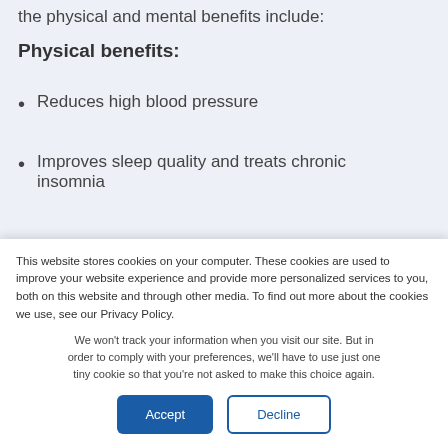the physical and mental benefits include:
Physical benefits:
Reduces high blood pressure
Improves sleep quality and treats chronic insomnia
Treats chronic pain
This website stores cookies on your computer. These cookies are used to improve your website experience and provide more personalized services to you, both on this website and through other media. To find out more about the cookies we use, see our Privacy Policy.
We won't track your information when you visit our site. But in order to comply with your preferences, we'll have to use just one tiny cookie so that you're not asked to make this choice again.